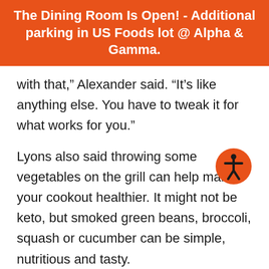The Dining Room Is Open! - Additional parking in US Foods lot @ Alpha & Gamma.
with that,” Alexander said. “It’s like anything else. You have to tweak it for what works for you.”
Lyons also said throwing some vegetables on the grill can help make your cookout healthier. It might not be keto, but smoked green beans, broccoli, squash or cucumber can be simple, nutritious and tasty.